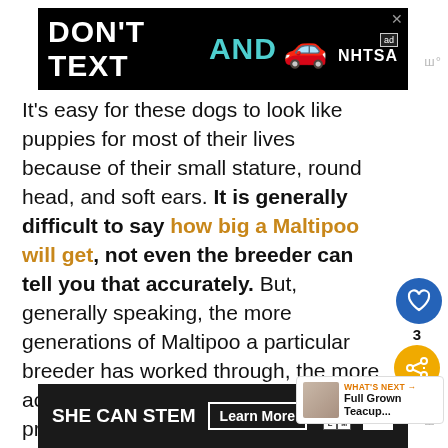[Figure (screenshot): Advertisement banner: black background with 'DON'T TEXT AND' text and car emoji, NHTSA branding]
It's easy for these dogs to look like puppies for most of their lives because of their small stature, round head, and soft ears. It is generally difficult to say how big a Maltipoo will get, not even the breeder can tell you that accurately. But, generally speaking, the more generations of Maltipoo a particular breeder has worked through, the more accurately he or she will be able to predict the puppy's adult size.
[Figure (screenshot): Bottom advertisement banner: 'SHE CAN STEM Learn More' on dark background with STEM and Ad Council logos]